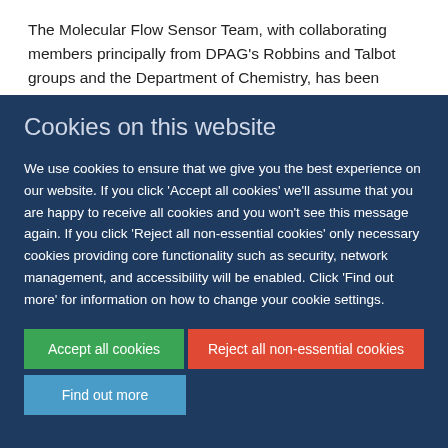The Molecular Flow Sensor Team, with collaborating members principally from DPAG's Robbins and Talbot groups and the Department of Chemistry, has been named the winner of the Royal Society of Chemistry's (RSC) Analytical Division...
Cookies on this website
We use cookies to ensure that we give you the best experience on our website. If you click 'Accept all cookies' we'll assume that you are happy to receive all cookies and you won't see this message again. If you click 'Reject all non-essential cookies' only necessary cookies providing core functionality such as security, network management, and accessibility will be enabled. Click 'Find out more' for information on how to change your cookie settings.
Accept all cookies | Reject all non-essential cookies | Find out more